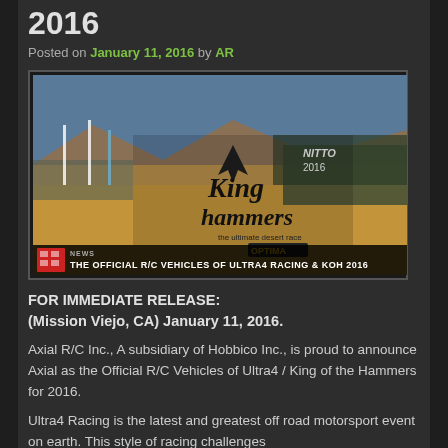2016
Posted on January 11, 2016 by AR
[Figure (photo): King of the Hammers 2016 event banner showing desert race scene with Nitto and Optima branding, and news bar reading: THE OFFICIAL R/C VEHICLES OF ULTRA4 RACING & KOH 2016]
FOR IMMEDIATE RELEASE:
(Mission Viejo, CA) January 11, 2016.
Axial R/C Inc., A subsidiary of Hobbico Inc., is proud to announce Axial as the Official R/C Vehicles of Ultra4 / King of the Hammers for 2016.
Ultra4 Racing is the latest and greatest off road motorsport event on earth. This style of racing challenges